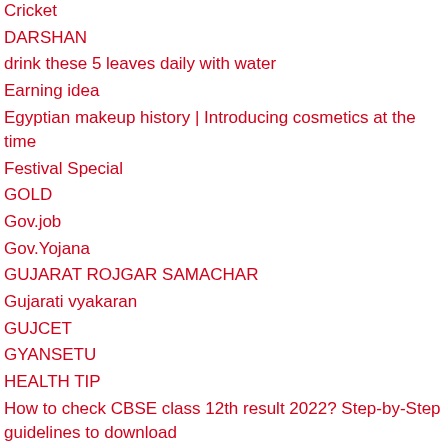Cricket
DARSHAN
drink these 5 leaves daily with water
Earning idea
Egyptian makeup history | Introducing cosmetics at the time
Festival Special
GOLD
Gov.job
Gov.Yojana
GUJARAT ROJGAR SAMACHAR
Gujarati vyakaran
GUJCET
GYANSETU
HEALTH TIP
How to check CBSE class 12th result 2022? Step-by-Step guidelines to download
INSURANCE
IPL
JANMASHATMI